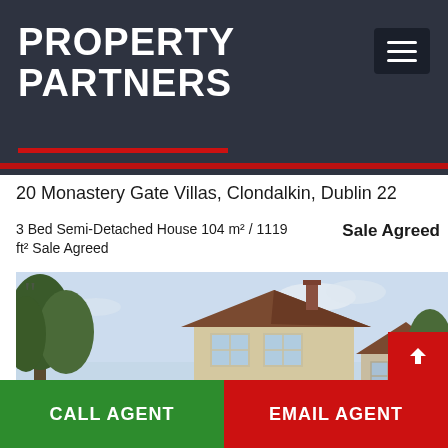PROPERTY PARTNERS
20 Monastery Gate Villas, Clondalkin, Dublin 22
3 Bed Semi-Detached House 104 m² / 1119 ft² Sale Agreed
[Figure (photo): Exterior photo of a 3-bed semi-detached house in Monastery Gate Villas, Clondalkin, Dublin 22. The house has a cream/beige render upper storey and dark brick lower storey with an arched front gate. Trees are visible on the left and other houses to the right under a partly cloudy sky.]
CALL AGENT
EMAIL AGENT